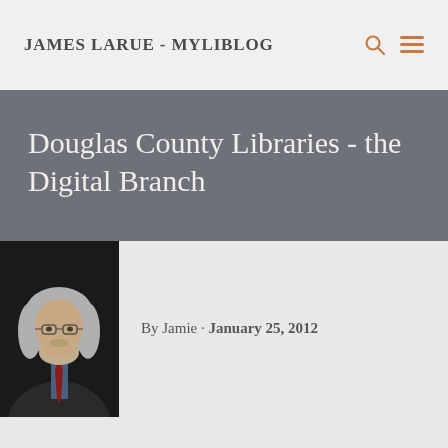JAMES LARUE - MYLIBLOG
Douglas County Libraries - the Digital Branch
By Jamie · January 25, 2012
[Figure (photo): Portrait photo of a man with long gray hair, beard, glasses, wearing a dark jacket and red tie, photographed against a dark background.]